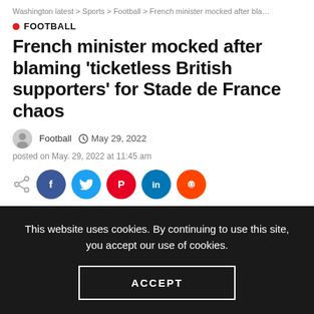Washington latest > Sports > Football > French minister mocked after bla…
FOOTBALL
French minister mocked after blaming 'ticketless British supporters' for Stade de France chaos
Football  May 29, 2022
posted on May. 29, 2022 at 11:45 am
[Figure (other): Social share buttons: Facebook, Twitter, Pinterest, LinkedIn, Reddit]
This website uses cookies. By continuing to use this site, you accept our use of cookies.